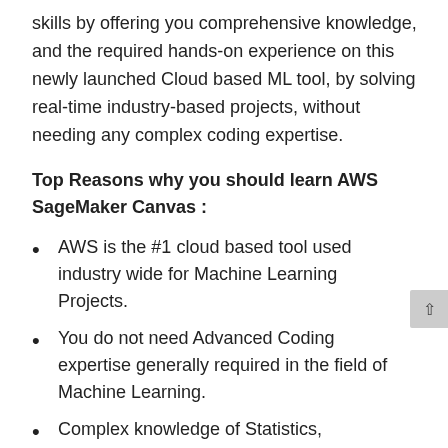skills by offering you comprehensive knowledge, and the required hands-on experience on this newly launched Cloud based ML tool, by solving real-time industry-based projects, without needing any complex coding expertise.
Top Reasons why you should learn AWS SageMaker Canvas :
AWS is the #1 cloud based tool used industry wide for Machine Learning Projects.
You do not need Advanced Coding expertise generally required in the field of Machine Learning.
Complex knowledge of Statistics, Algorithms, Mathematics that is difficult to master is also not required.